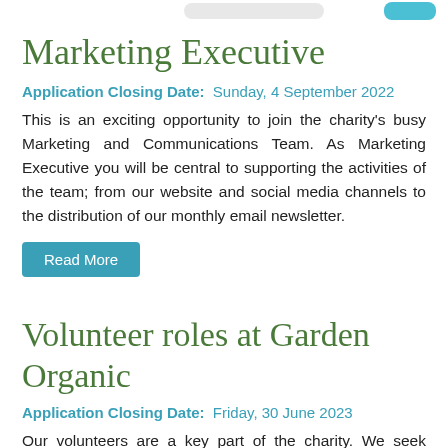Marketing Executive
Application Closing Date:  Sunday, 4 September 2022
This is an exciting opportunity to join the charity's busy Marketing and Communications Team. As Marketing Executive you will be central to supporting the activities of the team; from our website and social media channels to the distribution of our monthly email newsletter.
Read More
Volunteer roles at Garden Organic
Application Closing Date:  Friday, 30 June 2023
Our volunteers are a key part of the charity. We seek Volunteers to support us through a select range of projects, from maintenance assistance in our Demonstration Garden to